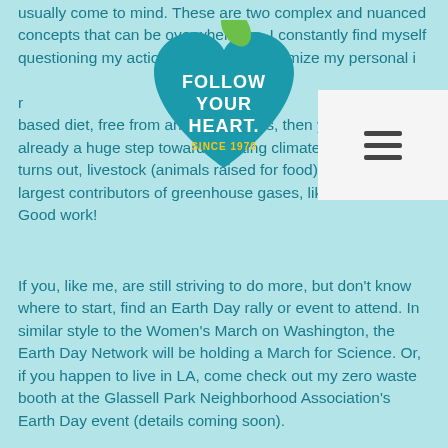[Figure (logo): Follow Your Heart heart-shaped logo with green leaf, teal background, white text reading FOLLOW YOUR HEART SINCE 1970]
usually come to mind. These are two complex and nuanced concepts that can be overwhelming. I constantly find myself questioning my actions, in order to minimize my personal impact. If you follow a plant-based diet, free from animal products, then you have already a huge step towards fighting climate change! As it turns out, livestock (animals raised for food) are some of the largest contributors of greenhouse gases, like methane. Good work!
If you, like me, are still striving to do more, but don't know where to start, find an Earth Day rally or event to attend. In similar style to the Women's March on Washington, the Earth Day Network will be holding a March for Science. Or, if you happen to live in LA, come check out my zero waste booth at the Glassell Park Neighborhood Association's Earth Day event (details coming soon).
Attending events can be a great source of motivation, but true change comes when you take action. Start small by walking short distances that you would normally drive. Cook more meals at home, which helps you stay more connected to where your food